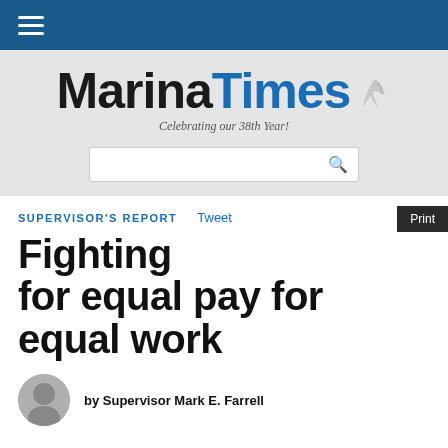Marina Times — Celebrating our 38th Year!
SUPERVISOR'S REPORT
Fighting for equal pay for equal work
by Supervisor Mark E. Farrell